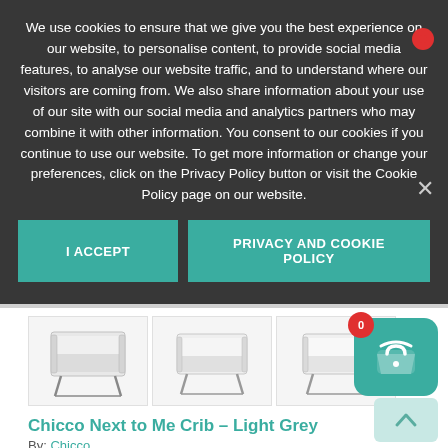We use cookies to ensure that we give you the best experience on our website, to personalise content, to provide social media features, to analyse our website traffic, and to understand where our visitors are coming from. We also share information about your use of our site with our social media and analytics partners who may combine it with other information. You consent to our cookies if you continue to use our website. To get more information or change your preferences, click on the Privacy Policy button or visit the Cookie Policy page on our website.
I ACCEPT
PRIVACY AND COOKIE POLICY
[Figure (photo): Three product images of a baby crib (Chicco Next to Me Crib in Light Grey) shown side by side]
Chicco Next to Me Crib – Light Grey
By: Chicco